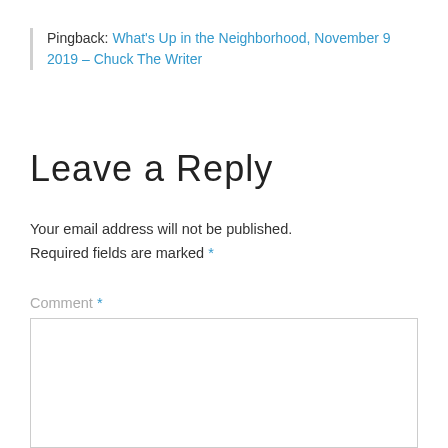Pingback: What's Up in the Neighborhood, November 9 2019 – Chuck The Writer
Leave a Reply
Your email address will not be published. Required fields are marked *
Comment *